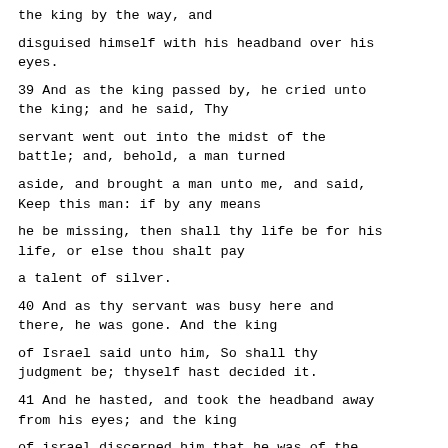the king by the way, and
disguised himself with his headband over his eyes.
39 And as the king passed by, he cried unto the king; and he said, Thy
servant went out into the midst of the battle; and, behold, a man turned
aside, and brought a man unto me, and said, Keep this man: if by any means
he be missing, then shall thy life be for his life, or else thou shalt pay
a talent of silver.
40 And as thy servant was busy here and there, he was gone. And the king
of Israel said unto him, So shall thy judgment be; thyself hast decided it.
41 And he hasted, and took the headband away from his eyes; and the king
of israel discerned him that he was of the prophets.
42 And he said unto him, Thus saith Jehovah,